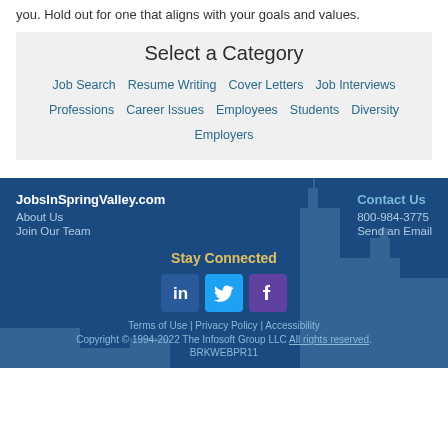you. Hold out for one that aligns with your goals and values.
Select a Category
Job Search   Resume Writing   Cover Letters   Job Interviews   Professions   Career Issues   Employees   Students   Diversity   Employers
JobsInSpringValley.com
About Us
Join Our Team
Contact Us
800-984-3775
Send an Email
Stay Connected
[Figure (infographic): LinkedIn, Twitter, and Facebook social media icons]
Terms of Use | Privacy Policy | Accessibility
Copyright © 1994-2022 The Infosoft Group LLC All rights reserved.
BRKWEBPR11